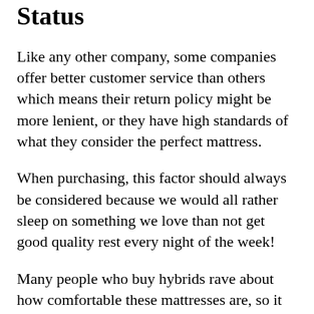Status
Like any other company, some companies offer better customer service than others which means their return policy might be more lenient, or they have high standards of what they consider the perfect mattress.
When purchasing, this factor should always be considered because we would all rather sleep on something we love than not get good quality rest every night of the week!
Many people who buy hybrids rave about how comfortable these mattresses are, so it might be hard to say no.